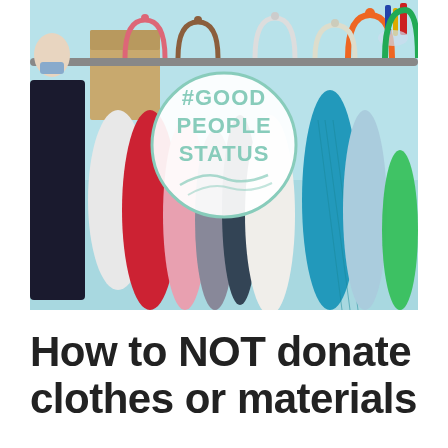[Figure (photo): A clothing rack densely packed with colorful garments on hangers (red, pink, gray, blue, white, orange, green). In the center, a circular sign reads '#GOOD PEOPLE STATUS' in teal/mint lettering. Background is light blue. Various plastic and wooden hangers are visible.]
How to NOT donate clothes or materials